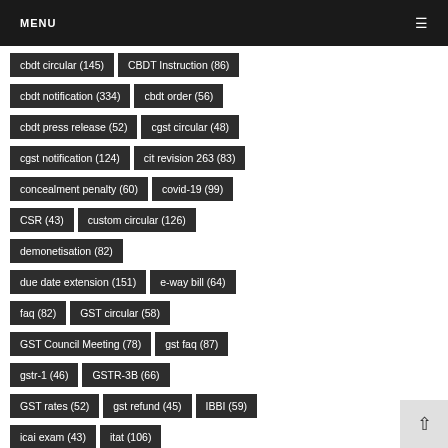MENU
cbdt circular (145)
CBDT Instruction (86)
cbdt notification (334)
cbdt order (56)
cbdt press release (52)
cgst circular (48)
cgst notification (124)
cit revision 263 (83)
concealment penalty (60)
covid-19 (99)
CSR (43)
custom circular (126)
demonetisation (82)
due date extension (151)
e-way bill (64)
faq (82)
GST circular (58)
GST Council Meeting (78)
gst faq (87)
gstr-1 (46)
GSTR-3B (66)
GST rates (52)
gst refund (45)
IBBI (59)
icai exam (43)
itat (106)
mca circular (80)
MCA notification (231)